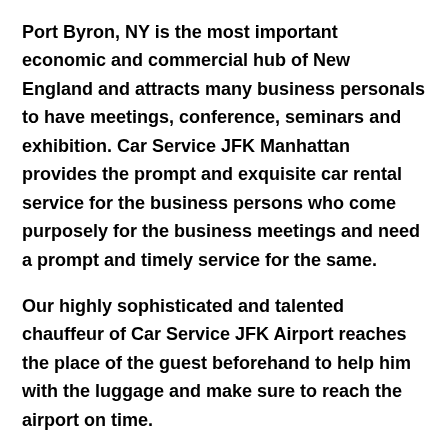Port Byron, NY is the most important economic and commercial hub of New England and attracts many business personals to have meetings, conference, seminars and exhibition. Car Service JFK Manhattan provides the prompt and exquisite car rental service for the business persons who come purposely for the business meetings and need a prompt and timely service for the same.
Our highly sophisticated and talented chauffeur of Car Service JFK Airport reaches the place of the guest beforehand to help him with the luggage and make sure to reach the airport on time.
If you have booked the JFK Airport Car Service for